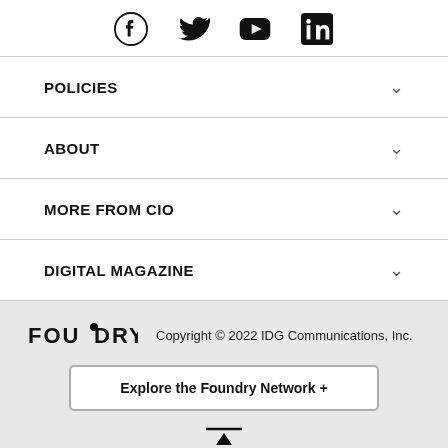[Figure (infographic): Social media icons: Facebook, Twitter, YouTube, LinkedIn]
POLICIES
ABOUT
MORE FROM CIO
DIGITAL MAGAZINE
FOUNDRY  Copyright © 2022 IDG Communications, Inc.  Explore the Foundry Network +  TOP OF PAGE